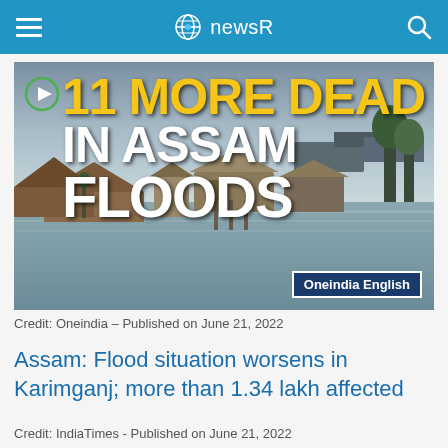newsR
[Figure (screenshot): News video thumbnail showing flooded village in Assam with text '11 MORE DEAD IN ASSAM FLOODS' and Oneindia English badge]
Credit: Oneindia - Published on June 21, 2022
Assam: Flood situation worsens in Karimganj; more than 1.34 lakh affected
Credit: IndiaTimes - Published on June 21, 2022